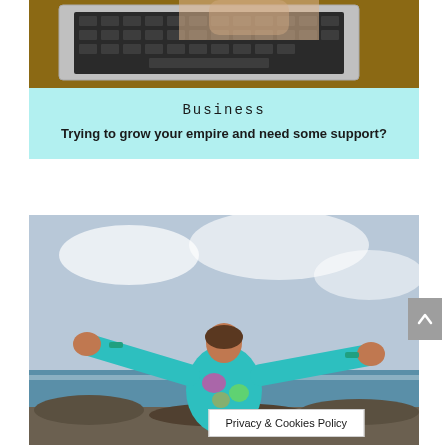[Figure (photo): Close-up photo of hands typing on a laptop keyboard on a wooden desk]
Business
Trying to grow your empire and need some support?
[Figure (photo): Woman with arms outstretched facing the ocean, wearing a colorful teal floral top, viewed from behind]
Privacy & Cookies Policy